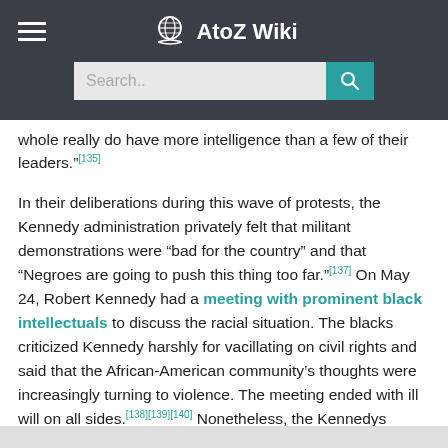AtoZ Wiki — Search bar header
whole really do have more intelligence than a few of their leaders."[135]
In their deliberations during this wave of protests, the Kennedy administration privately felt that militant demonstrations were "bad for the country" and that "Negroes are going to push this thing too far."[137] On May 24, Robert Kennedy had a meeting with prominent black intellectuals to discuss the racial situation. The blacks criticized Kennedy harshly for vacillating on civil rights and said that the African-American community's thoughts were increasingly turning to violence. The meeting ended with ill will on all sides.[138][139][140] Nonetheless, the Kennedys ultimately decided that new legislation for equal public accommodations was essential to drive activists "into the courts and out of the streets."[137][141]